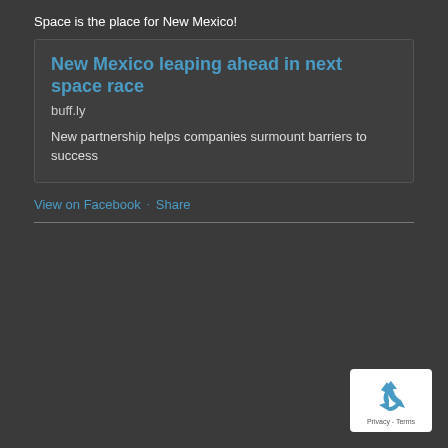Space is the place for New Mexico!
New Mexico leaping ahead in next space race
buff.ly
New partnership helps companies surmount barriers to success
View on Facebook · Share
[Figure (logo): reCAPTCHA badge with recycling arrow icon and Privacy - Terms text]